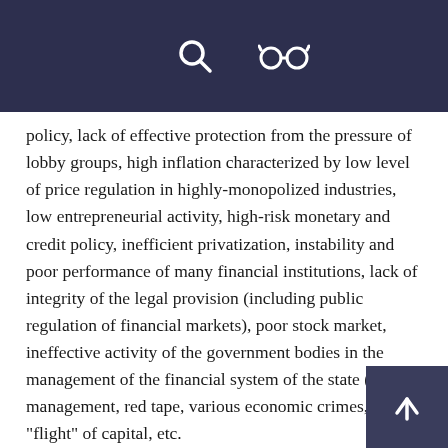[Navigation bar with hamburger menu, search icon, and glasses icon]
policy, lack of effective protection from the pressure of lobby groups, high inflation characterized by low level of price regulation in highly-monopolized industries, low entrepreneurial activity, high-risk monetary and credit policy, inefficient privatization, instability and poor performance of many financial institutions, lack of integrity of the legal provision (including public regulation of financial markets), poor stock market, ineffective activity of the government bodies in the management of the financial system of the state (poor management, red tape, various economic crimes, etc.), "flight" of capital, etc.
The major causes of external threats to financial security include: the dependence of the Kazakh economy on the global situation on world commodity markets, the impact of domestic and foreign policy of other states on the foreign economic ties and relations, the growth of external financial